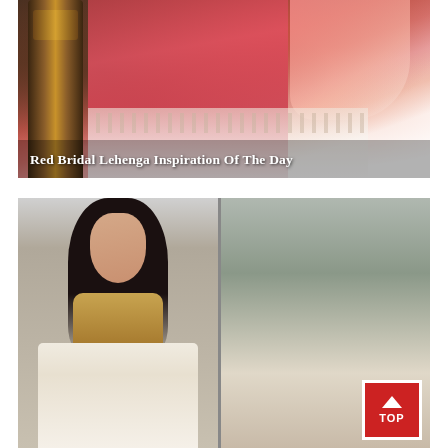[Figure (photo): A woman wearing a red bridal lehenga with white embroidered border and pink dupatta, standing near a decorative wooden pillar. Text overlay reads 'Red Bridal Lehenga Inspiration Of The Day'.]
Red Bridal Lehenga Inspiration Of The Day
[Figure (photo): Two-panel photo: left panel shows a woman in a cream/gold lehenga blouse with white skirt standing full body; right panel shows a close-up of a woman with gold jewelry (maang tikka, earrings) wearing a similar cream embroidered outfit. A red 'TOP' button is visible in the bottom-right corner.]